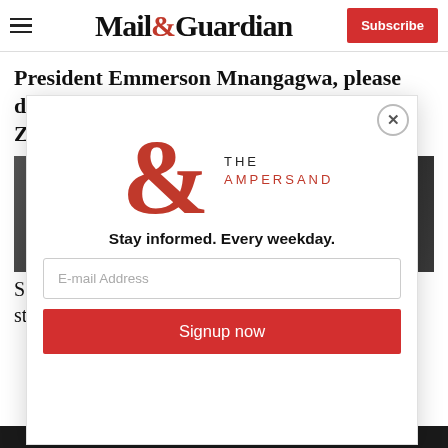Mail&Guardian — Subscribe
President Emmerson Mnangagwa, please deliver a government that will attract Zimbabweans home
[Figure (screenshot): Mail & Guardian website screenshot showing article page with a modal newsletter signup overlay. The modal displays 'THE AMPERSAND' logo in red, tagline 'Stay informed. Every weekday.', an email address input field, and a red 'Signup now' button. Below the modal is partially visible article text.]